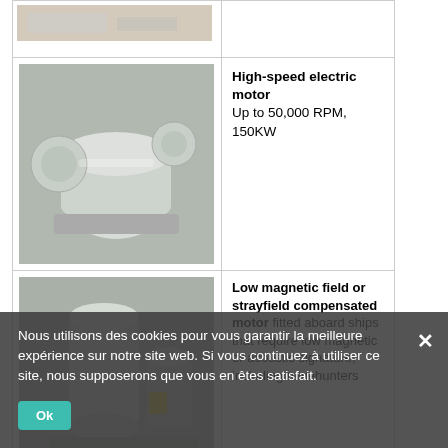[Figure (photo): Partial top row product image (cropped)]
[Figure (photo): High-speed electric motor — white industrial motor unit]
High-speed electric motor Up to 50,000 RPM, 150KW
[Figure (photo): Low magnetic field or strayfield compensated motor — white industrial motor unit]
Low magnetic field or strayfield compensated motor fitted aboard ships that require low magnetic or acoustic signature, including minehunters
Nous utilisons des cookies pour vous garantir la meilleure expérience sur notre site web. Si vous continuez à utiliser ce site, nous supposerons que vous en êtes satisfait.